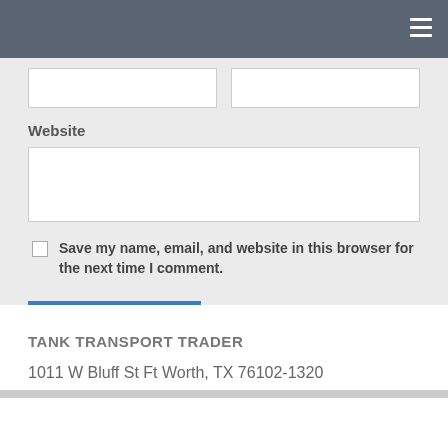Website
Save my name, email, and website in this browser for the next time I comment.
Post Comment
TANK TRANSPORT TRADER
1011 W Bluff St Ft Worth, TX 76102-1320